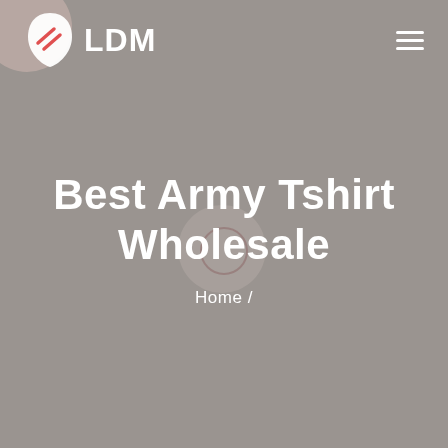[Figure (logo): LDM logo with shield/leaf icon containing red diagonal lines, white text LDM beside it]
Best Army Tshirt Wholesale
Home /